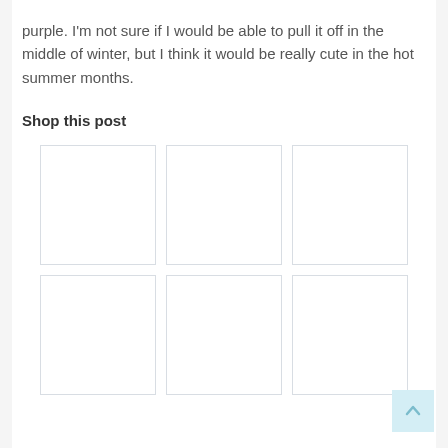purple. I'm not sure if I would be able to pull it off in the middle of winter, but I think it would be really cute in the hot summer months.
Shop this post
[Figure (other): Two rows of three product image placeholders (empty white rectangles with light gray borders) arranged in a 3x2 grid layout]
[Figure (other): Scroll-to-top button in the bottom right corner, light blue background with an upward-pointing chevron/caret icon]